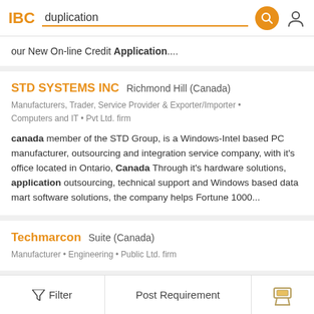IBC  duplication
our New On-line Credit Application....
STD SYSTEMS INC Richmond Hill (Canada)
Manufacturers, Trader, Service Provider & Exporter/Importer • Computers and IT • Pvt Ltd. firm
canada member of the STD Group, is a Windows-Intel based PC manufacturer, outsourcing and integration service company, with it's office located in Ontario, Canada Through it's hardware solutions, application outsourcing, technical support and Windows based data mart software solutions, the company helps Fortune 1000...
Techmarcon Suite (Canada)
Manufacturer • Engineering • Public Ltd. firm
Filter   Post Requirement